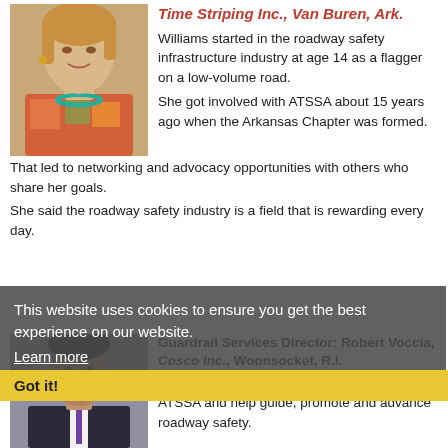[Figure (photo): Portrait photo of a woman with blonde hair, wearing a colorful top and turquoise necklace]
Time Striping Inc., Van Buren, Ark.
Williams started in the roadway safety infrastructure industry at age 14 as a flagger on a low-volume road.
She got involved with ATSSA about 15 years ago when the Arkansas Chapter was formed. That led to networking and advocacy opportunities with others who share her goals.
She said the roadway safety industry is a field that is rewarding every day.
This website uses cookies to ensure you get the best experience on our website.
Learn more
Got it!
[Figure (photo): Portrait photo of a man in a suit and tie]
Guardrail Services Director: Robert Voccia, Cosco Inc., Woonsocket, R.I.
Voccia is pleased for the opportunity to represent ATSSA and help guide, promote and advance roadway safety.